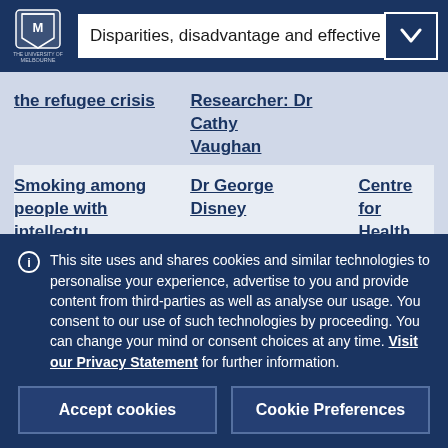Disparities, disadvantage and effective h
| the refugee crisis | Researcher: Dr Cathy Vaughan |  |
| Smoking among people with intellectual | Dr George Disney | Centre for Health Equity |
This site uses and shares cookies and similar technologies to personalise your experience, advertise to you and provide content from third-parties as well as analyse our usage. You consent to our use of such technologies by proceeding. You can change your mind or consent choices at any time. Visit our Privacy Statement for further information.
Accept cookies
Cookie Preferences